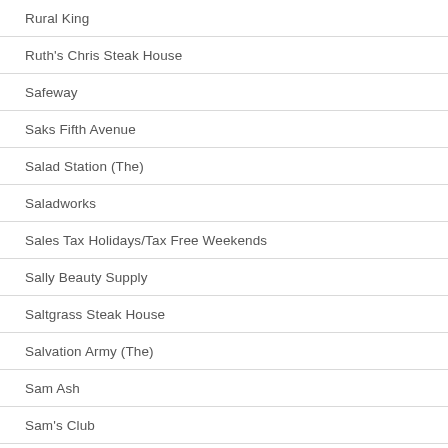Rural King
Ruth's Chris Steak House
Safeway
Saks Fifth Avenue
Salad Station (The)
Saladworks
Sales Tax Holidays/Tax Free Weekends
Sally Beauty Supply
Saltgrass Steak House
Salvation Army (The)
Sam Ash
Sam's Club
Sammy's Pizza
Sarpino's Pizzeria